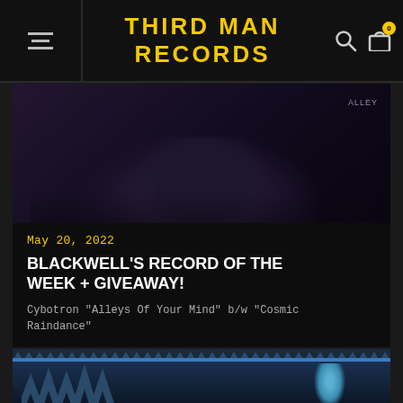THIRD MAN RECORDS
[Figure (photo): Close-up photo of a bearded man in dark clothing, dimly lit, purple-dark tones. Partial text 'ALLEY' visible in top right corner.]
May 20, 2022
BLACKWELL'S RECORD OF THE WEEK + GIVEAWAY!
Cybotron "Alleys Of Your Mind" b/w "Cosmic Raindance"
[Figure (illustration): Bottom portion of an illustrated card showing a stylized blue-haired figure with decorative triangular pattern border at top.]